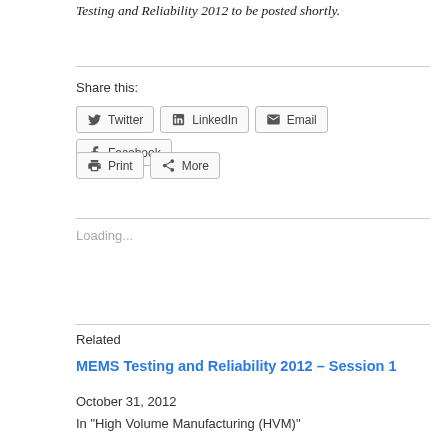Testing and Reliability 2012 to be posted shortly.
Share this:
Twitter  LinkedIn  Email  Facebook  Print  More
Loading...
Related
MEMS Testing and Reliability 2012 – Session 1
October 31, 2012
In "High Volume Manufacturing (HVM)"